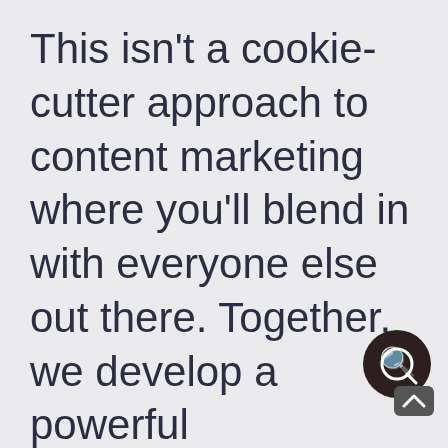This isn't a cookie-cutter approach to content marketing where you'll blend in with everyone else out there. Together, we develop a powerful personalized strategy and calendar that relies on high-quality niche specific content to grow YOUR healthcare practice